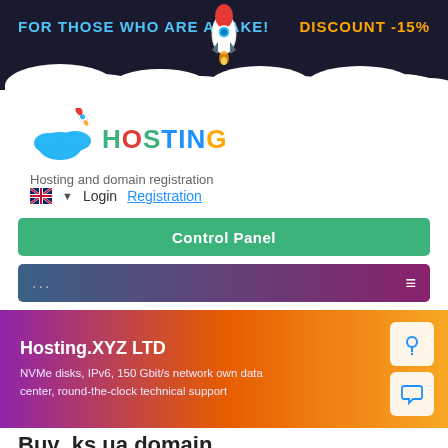[Figure (screenshot): Dark blue banner with text 'FOR THOSE WHO ARE AWAKE!' in blue bold and 'DISCOUNT -15%' in orange bold, with rocket illustration and clouds]
[Figure (logo): Hosting company logo: cloud and rocket icon with colorful HOSTING text and tagline 'Hosting and domain registration']
🇬🇧 ▼  Login   Registration
Control Panel
...   ≡
Hosting.XYZ LTD
NVMe disks, IPv6, 150 Gbit/s network own data center, round-the-clock technical support
Buy .ks.ua domain